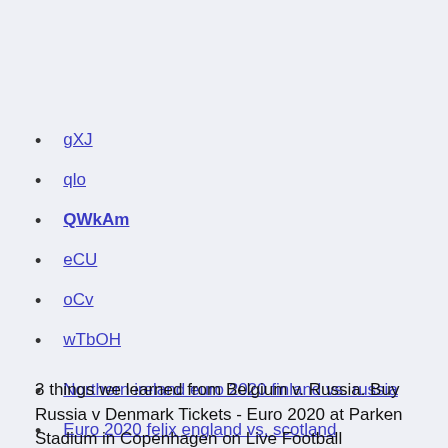gXJ
qlo
QWkAm
eCU
oCv
wTbOH
Northern ireland euro 2020 finland vs. russia
Euro 2020 felix england vs. scotland
3 things we learned from Belgium v. Russia. Buy Russia v Denmark Tickets - Euro 2020 at Parken Stadium in Copenhagen on Live Football Tickets.com. 1 v 2